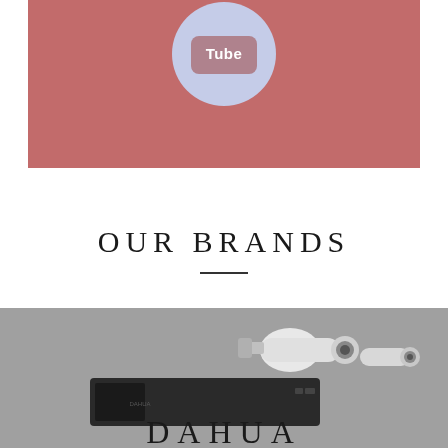[Figure (logo): YouTube-style logo button on a mauve/dusty rose colored background block]
OUR BRANDS
[Figure (photo): Dahua security camera and NVR recorder on a gray background with DAHUA text overlay]